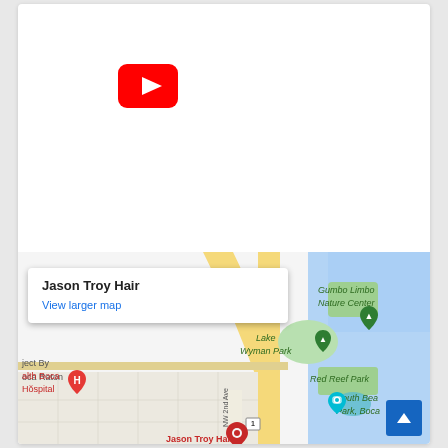[Figure (logo): YouTube logo icon — red rounded square with white play button triangle]
[Figure (map): Google Maps screenshot showing Jason Troy Hair location in Boca Raton, FL area. Shows Lake Wyman Park, Gumbo Limbo Nature Center, Red Reef Park, South Beach Park Boca. Map tooltip shows 'Jason Troy Hair' and 'View larger map' link. Red location pin marks Jason Troy Hair. Hospital marker (H) for Health Boca Hospital visible.]